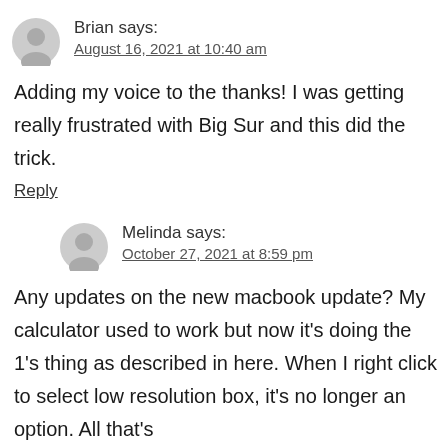Brian says: August 16, 2021 at 10:40 am
Adding my voice to the thanks! I was getting really frustrated with Big Sur and this did the trick.
Reply
Melinda says: October 27, 2021 at 8:59 pm
Any updates on the new macbook update? My calculator used to work but now it's doing the 1's thing as described in here. When I right click to select low resolution box, it's no longer an option. All that's